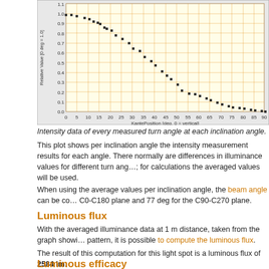[Figure (continuous-plot): Scatter plot showing relative intensity values (0 to 1.1 on y-axis) vs KantePosition in degrees 0-90 (x-axis, labeled 'KantePosition [deg, 0 = vertical]'). Y-axis labeled 'Relative Value [0 deg = 1.0]'. Data points form a decreasing curve from ~1.0 at 0 degrees down to near 0 at 90 degrees.]
Intensity data of every measured turn angle at each inclination angle.
This plot shows per inclination angle the intensity measurement results for each angle. There normally are differences in illuminance values for different turn angles; for calculations the averaged values will be used.
When using the average values per inclination angle, the beam angle can be co... C0-C180 plane and 77 deg for the C90-C270 plane.
Luminous flux
With the averaged illuminance data at 1 m distance, taken from the graph showing the pattern, it is possible to compute the luminous flux.
The result of this computation for this light spot is a luminous flux of 2584 lm.
Luminous efficacy